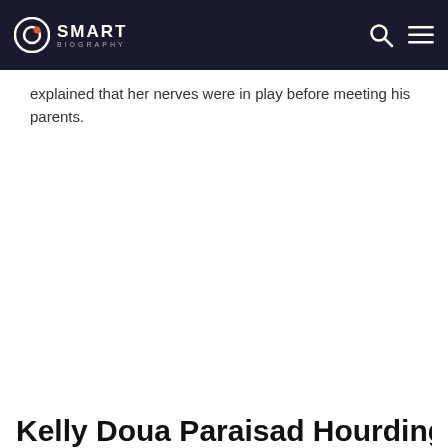SMART BIOGRAPHY
explained that her nerves were in play before meeting his parents.
Kelly Doua Paraisad Hourding $* Milli